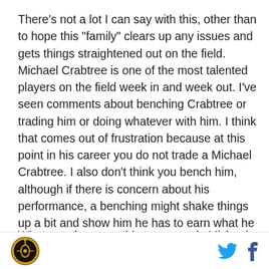There's not a lot I can say with this, other than to hope this "family" clears up any issues and gets things straightened out on the field. Michael Crabtree is one of the most talented players on the field week in and week out. I've seen comments about benching Crabtree or trading him or doing whatever with him. I think that comes out of frustration because at this point in his career you do not trade a Michael Crabtree. I also don't think you bench him, although if there is concern about his performance, a benching might shake things up a bit and show him he has to earn what he gets.
Whatever the case, this team needs Michael Crabtree
[Figure (logo): Circular gold and black logo with a key/eye symbol in the center]
[Figure (logo): Twitter bird icon in light blue]
[Figure (logo): Facebook f icon in dark blue]